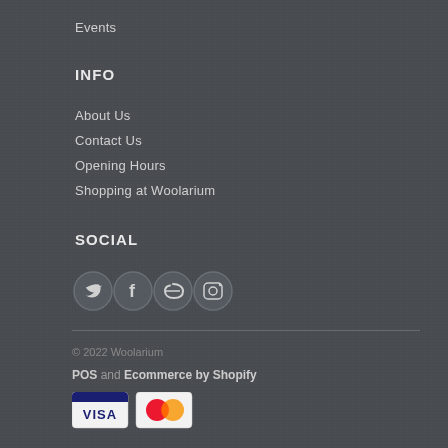Events
Info
About Us
Contact Us
Opening Hours
Shopping at Woolarium
Social
[Figure (other): Four circular social media icons: Twitter, Facebook, a custom logo, and Instagram]
© 2022 Woolarium
POS and Ecommerce by Shopify
[Figure (other): Visa and Mastercard payment icons]